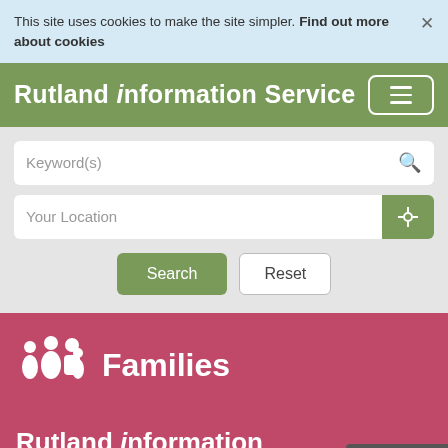This site uses cookies to make the site simpler. Find out more about cookies
Rutland information Service
[Figure (screenshot): Search bar with Keyword(s) placeholder and magnifying glass icon]
[Figure (screenshot): Location input field with Your Location placeholder and crosshair/location button]
[Figure (screenshot): Search and Reset buttons]
Families
Rutland information